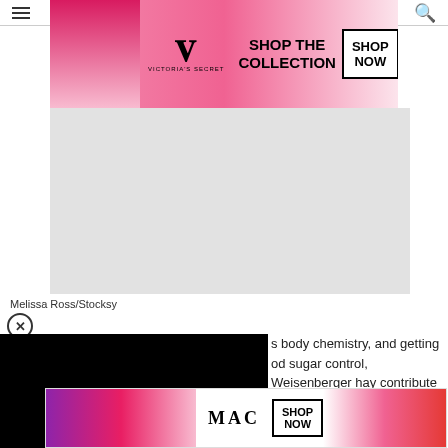[Figure (screenshot): Top navigation bar with hamburger menu icon and search icon]
[Figure (photo): Victoria's Secret advertisement banner with model, logo, 'SHOP THE COLLECTION' text and 'SHOP NOW' button]
[Figure (photo): Gray placeholder image area below the Victoria's Secret ad]
Melissa Ross/Stocksy
[Figure (screenshot): Close (X) circular button]
[Figure (photo): Black video overlay rectangle covering left portion of screen]
s body chemistry, and getting od sugar control, Weisenberger hay contribute to the risk of type
ublished in Diabetologia in February 2015
. Healthy volunteers who slept only four hours for three nights in a row had higher levels of fatty acids in their blood, which by about is also li ity
[Figure (screenshot): CLOSE button overlay (dark gray rectangle with white text 'CLOSE')]
[Figure (photo): MAC cosmetics advertisement banner with lipsticks, MAC logo, and SHOP NOW button]